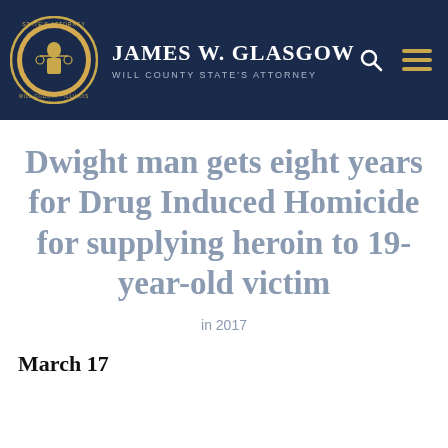James W. Glasgow – Will County State's Attorney
Dwight man gets eight years for Drug Induced Homicide for supplying heroin to 19-year-old victim
in 2017
March 17